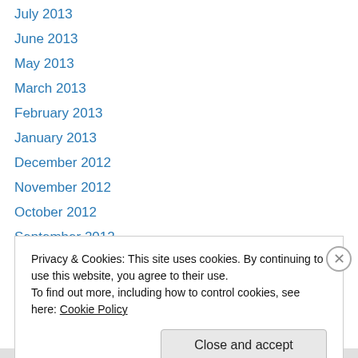July 2013
June 2013
May 2013
March 2013
February 2013
January 2013
December 2012
November 2012
October 2012
September 2012
August 2012
July 2012
June 2012
Privacy & Cookies: This site uses cookies. By continuing to use this website, you agree to their use. To find out more, including how to control cookies, see here: Cookie Policy
Close and accept